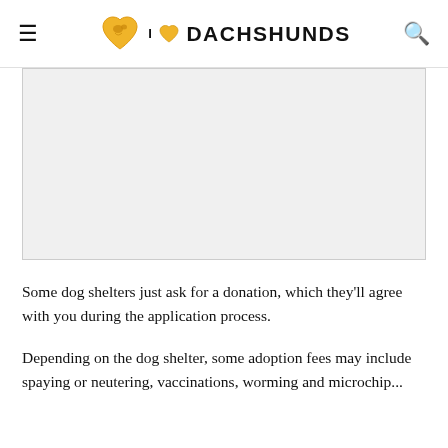I ❤ DACHSHUNDS
[Figure (other): Light gray image placeholder box]
Some dog shelters just ask for a donation, which they'll agree with you during the application process.
Depending on the dog shelter, some adoption fees may include spaying or neutering, vaccinations, worming and microchip...